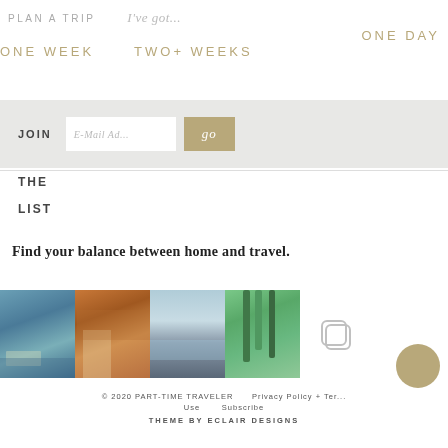PLAN A TRIP   I've got...   ONE DAY   ONE WEEK   TWO+ WEEKS
JOIN [E-Mail Address] go
THE
LIST
Find your balance between home and travel.
[Figure (photo): Strip of four travel photos: lakeside town, European street, mountain lake, tropical palms]
[Figure (logo): Instagram copy icon (rounded square outline)]
© 2020 PART-TIME TRAVELER   Privacy Policy + Terms of Use   Subscribe   THEME BY ECLAIR DESIGNS